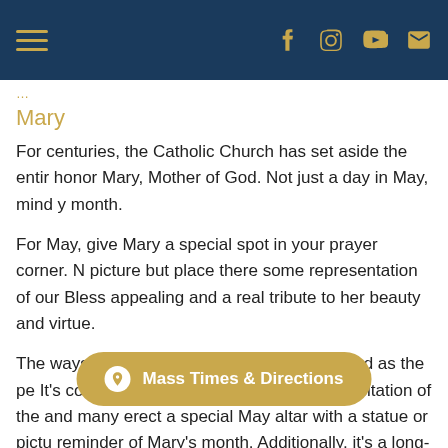Navigation header with hamburger menu and social icons (Facebook, Instagram, YouTube, Email)
Mary
For centuries, the Catholic Church has set aside the entire month of May to honor Mary, Mother of God. Not just a day in May, mind you, but the entire month.
For May, give Mary a special spot in your prayer corner. Not just any picture but place there some representation of our Blessed Mother that is appealing and a real tribute to her beauty and virtue.
The ways Mary is honored in May are as varied as the people who honor her. It's common for parishes to have a daily recitation of the Rosary during May, and many erect a special May altar with a statue or picture as a continuing reminder of Mary's month. Additionally, it's a long-standing tradition to crown the statue of Mary during May. May altars and crownings can be an inspiration at home. When we echo the customs and